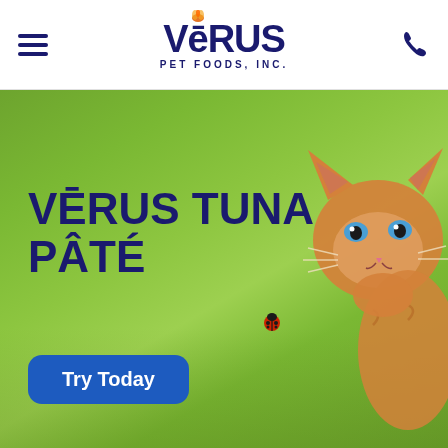VēRUS PET FOODS, INC.
[Figure (photo): Hero section showing an orange kitten on green grass looking at a ladybug, with text overlay 'VĒRUS TUNA PÂTÉ' and a 'Try Today' button]
VĒRUS TUNA PÂTÉ
Try Today